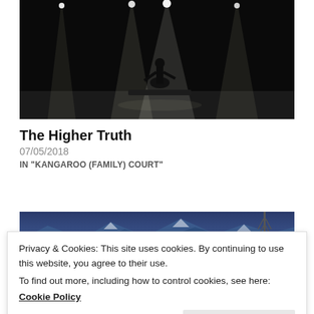[Figure (photo): Dark concert stage photo with silhouette of performer under dramatic spotlights]
The Higher Truth
07/05/2018
IN "KANGAROO (FAMILY) COURT"
[Figure (photo): Panoramic mountain landscape photo with snowy blue-tinted mountains and a tall tower or antenna]
Privacy & Cookies: This site uses cookies. By continuing to use this website, you agree to their use.
To find out more, including how to control cookies, see here:
Cookie Policy
Close and accept